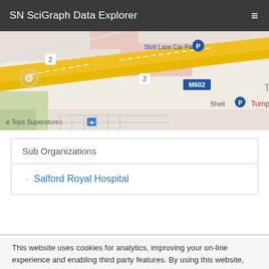SN SciGraph Data Explorer
[Figure (map): Street map showing Stott Lane Car Park, M602 motorway, Shell petrol station, Turnpike area, and e Toys Superstores near Salford]
Sub Organizations
Salford Royal Hospital
This website uses cookies for analytics, improving your on-line experience and enabling third party features. By using this website, you are agreeing to the use of cookies. To find out more and manage your preferences, click on “Cookie settings”.